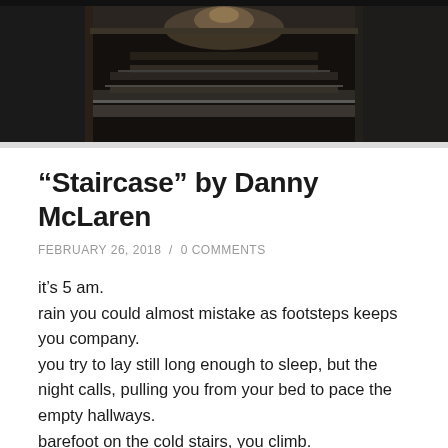[Figure (photo): Dark photograph of a staircase interior, showing worn wooden steps leading upward through a narrow passage with dark walls and overhead light]
“Staircase” by Danny McLaren
FEBRUARY 26, 2018 / 0 COMMENTS
it’s 5 am.
rain you could almost mistake as footsteps keeps you company.
you try to lay still long enough to sleep, but the night calls, pulling you from your bed to pace the empty hallways.
barefoot on the cold stairs, you climb.
round and round.
higher and higher.
this place feels like home sometimes, but that feeling is fleeting.